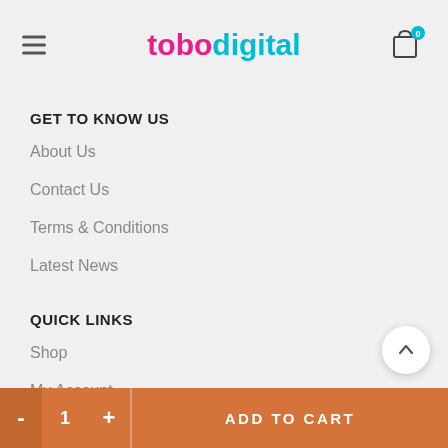tobodigital
GET TO KNOW US
About Us
Contact Us
Terms & Conditions
Latest News
QUICK LINKS
Shop
My Account
Blog
- 1 + ADD TO CART